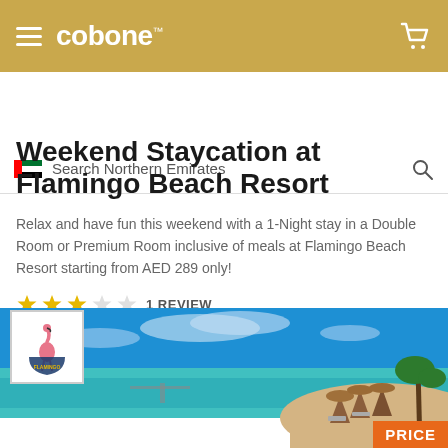cobone™
Search Northern Emirates
Weekend Staycation at Flamingo Beach Resort
Relax and have fun this weekend with a 1-Night stay in a Double Room or Premium Room inclusive of meals at Flamingo Beach Resort starting from AED 289 only!
1 REVIEW
[Figure (photo): Beach resort photo showing turquoise water, sandy beach with beach chairs and thatched umbrellas, palm trees, and blue sky. Flamingo Beach Resort logo overlay in top left corner.]
PRICE